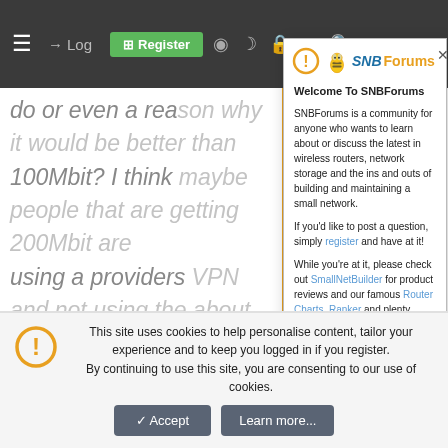≡  → Login  ⊞ Register  ◉  ☾  🔒  ✕  🔍
do or even a reason why it would be better than 100Mbit? I think maybe people that are getting 200Mbit are using a providers VPN and not using the about the VPN server, not sure. Maybe its all it can do.
# Config generated by Asuswrt-Merlin 386.3, requires OpenVPN 2.4.0 or new
client
dev tun
proto udp
[Figure (screenshot): SNBForums welcome modal dialog with logo (cartoon bee + SNBForums text), welcome message, community description, and links to register, SmallNetBuilder, Router Charts, Ranker]
This site uses cookies to help personalise content, tailor your experience and to keep you logged in if you register.
By continuing to use this site, you are consenting to our use of cookies.
✓ Accept   Learn more...